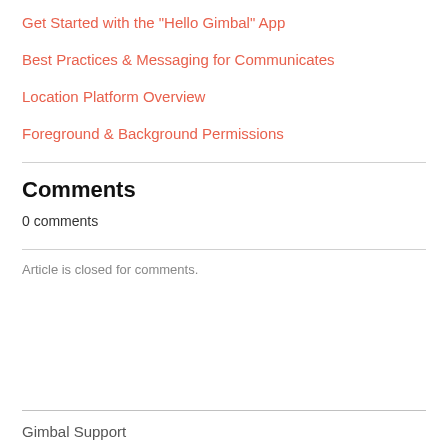Get Started with the "Hello Gimbal" App
Best Practices & Messaging for Communicates
Location Platform Overview
Foreground & Background Permissions
Comments
0 comments
Article is closed for comments.
Gimbal Support